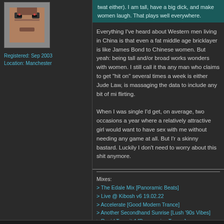[Figure (illustration): Pixelated avatar image of a face]
Registered: Sep 2003
Location: Manchester
twat either). I am tall, have a big dick, and make women laugh. That plays well everywhere.
Everything I've heard about Western men living in China is that even a fat middle aged bricklayer is like James Bond to Chinese women. But yeah: being tall and/or broad works wonders with women. I still call it that any man who claims to get "hit on" several times a week is either Jude Law, is massaging the data to include any bit of mild flirting.
When I was single I'd get, on average, two occasions a year where a relatively attractive girl would want to have sex with me without needing any game at all. But I'm a skinny bastard. Luckily I don't need to worry about this shit anymore.
Mixes:
> The Edale Mix [Panoramic Beats]
> Live @ Kibosh v6 19.02.22
> Accelerate [Good Modern Trance]
> Another Secondhand Sunrise [Lush '90s Vibes]
> Rapid Transit 4 [Progressive Trance]